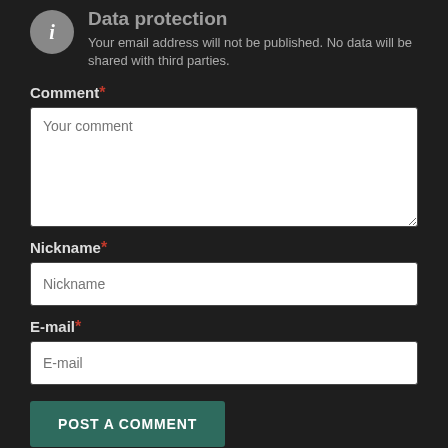Data protection
Your email address will not be published. No data will be shared with third parties.
Comment*
[Figure (screenshot): Text area input field with placeholder 'Your comment']
Nickname*
[Figure (screenshot): Text input field with placeholder 'Nickname']
E-mail*
[Figure (screenshot): Text input field with placeholder 'E-mail']
POST A COMMENT